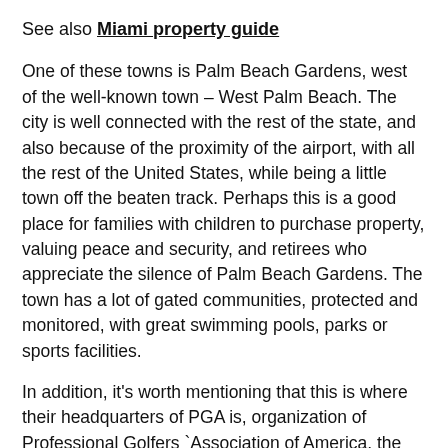See also Miami property guide
One of these towns is Palm Beach Gardens, west of the well-known town – West Palm Beach. The city is well connected with the rest of the state, and also because of the proximity of the airport, with all the rest of the United States, while being a little town off the beaten track. Perhaps this is a good place for families with children to purchase property, valuing peace and security, and retirees who appreciate the silence of Palm Beach Gardens. The town has a lot of gated communities, protected and monitored, with great swimming pools, parks or sports facilities.
In addition, it's worth mentioning that this is where their headquarters of PGA is, organization of Professional Golfers `Association of America, the professional association of American golfers. The campuses cities have as many as 12 golf courses, including the municipal golf courses. Maybe it's a good time to learn to play golf? Already playing? I do not think you need to